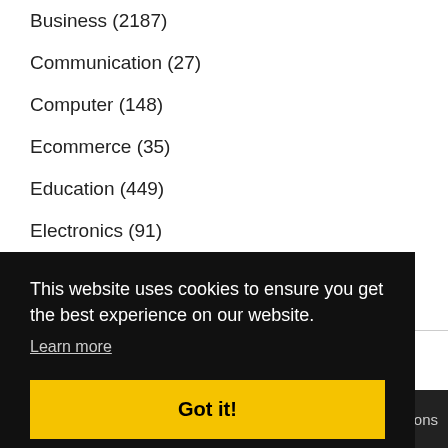Business (2187)
Communication (27)
Computer (148)
Ecommerce (35)
Education (449)
Electronics (91)
Energy (5)
This website uses cookies to ensure you get the best experience on our website.
Learn more
Got it!
ditions